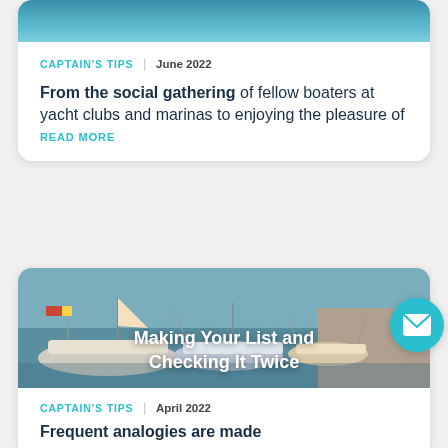[Figure (photo): Ocean water surface, teal/blue color, top of article card]
CAPTAIN'S TIPS | June 2022
From the social gathering of fellow boaters at yacht clubs and marinas to enjoying the pleasure of
READ MORE
[Figure (photo): Boats docked at a marina, with text overlay: Making Your List and Checking It Twice]
[Figure (other): Teal circular email/envelope button icon]
CAPTAIN'S TIPS | April 2022
Frequent analogies are made